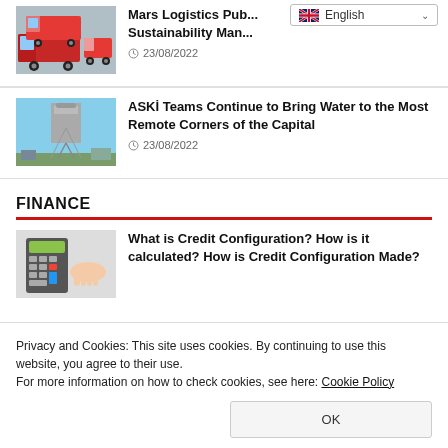[Figure (photo): Red Mars Logistics trucks photo thumbnail]
Mars Logistics Pub... Sustainability Man...
23/08/2022
[Figure (photo): Water tower / infrastructure photo thumbnail]
ASKİ Teams Continue to Bring Water to the Most Remote Corners of the Capital
23/08/2022
FINANCE
[Figure (photo): Calculator and hand photo thumbnail for credit configuration article]
What is Credit Configuration? How is it calculated? How is Credit Configuration Made?
Privacy and Cookies: This site uses cookies. By continuing to use this website, you agree to their use.
For more information on how to check cookies, see here: Cookie Policy